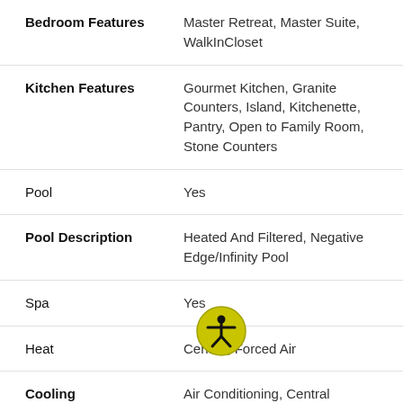| Feature | Value |
| --- | --- |
| Bedroom Features | Master Retreat, Master Suite, WalkInCloset |
| Kitchen Features | Gourmet Kitchen, Granite Counters, Island, Kitchenette, Pantry, Open to Family Room, Stone Counters |
| Pool | Yes |
| Pool Description | Heated And Filtered, Negative Edge/Infinity Pool |
| Spa | Yes |
| Heat | Central, Forced Air |
| Cooling | Air Conditioning, Central |